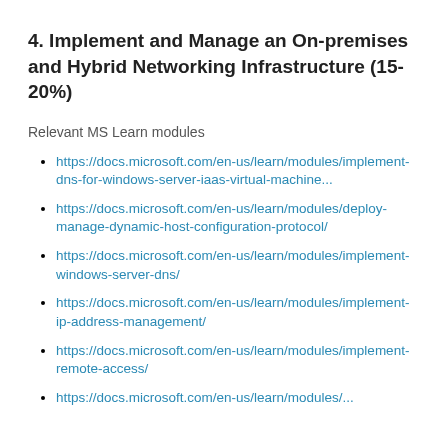4. Implement and Manage an On-premises and Hybrid Networking Infrastructure (15-20%)
Relevant MS Learn modules
https://docs.microsoft.com/en-us/learn/modules/implement-dns-for-windows-server-iaas-virtual-machine...
https://docs.microsoft.com/en-us/learn/modules/deploy-manage-dynamic-host-configuration-protocol/
https://docs.microsoft.com/en-us/learn/modules/implement-windows-server-dns/
https://docs.microsoft.com/en-us/learn/modules/implement-ip-address-management/
https://docs.microsoft.com/en-us/learn/modules/implement-remote-access/
https://docs.microsoft.com/en-us/learn/modules/...